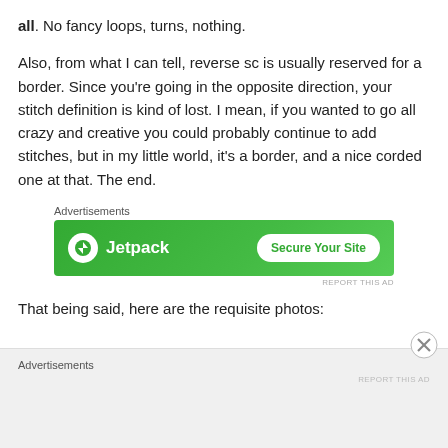all.  No fancy loops, turns, nothing.
Also, from what I can tell, reverse sc is usually reserved for a border.  Since you’re going in the opposite direction, your stitch definition is kind of lost.  I mean, if you wanted to go all crazy and creative you could probably continue to add stitches, but in my little world, it’s a border, and a nice corded one at that.   The end.
[Figure (other): Jetpack advertisement banner with green background, Jetpack logo and 'Secure Your Site' button]
That being said, here are the requisite photos:
[Figure (other): Second advertisement area with grey background, partially visible, showing 'Advertisements' label and close button]